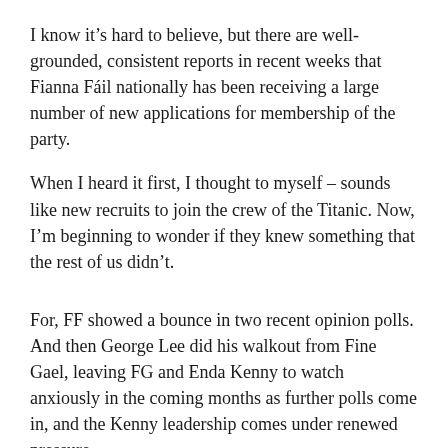I know it’s hard to believe, but there are well-grounded, consistent reports in recent weeks that Fianna Fáil nationally has been receiving a large number of new applications for membership of the party.
When I heard it first, I thought to myself – sounds like new recruits to join the crew of the Titanic. Now, I’m beginning to wonder if they knew something that the rest of us didn’t.
For, FF showed a bounce in two recent opinion polls. And then George Lee did his walkout from Fine Gael, leaving FG and Enda Kenny to watch anxiously in the coming months as further polls come in, and the Kenny leadership comes under renewed pressure.